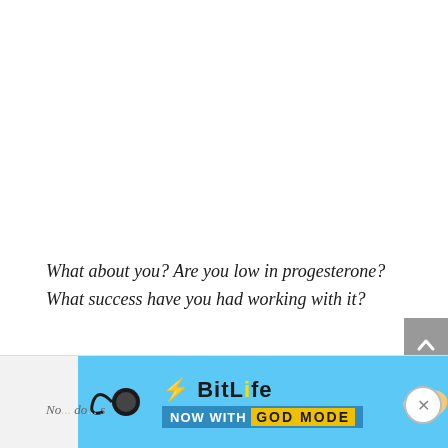What about you? Are you low in progesterone? What success have you had working with it?
[Figure (screenshot): BitLife advertisement banner with blue background, lightning bolt graphic, pointing hand graphic, and text 'BitLife NOW WITH GOD MODE' with a help/close button]
No... do... s